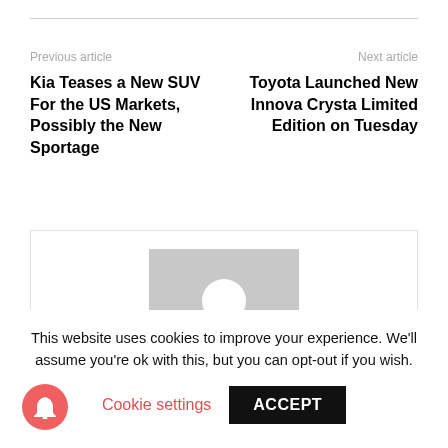Previous article
Next article
Kia Teases a New SUV For the US Markets, Possibly the New Sportage
Toyota Launched New Innova Crysta Limited Edition on Tuesday
[Figure (illustration): Author avatar placeholder — grey rectangle with white silhouette of a person]
Janani Arvind
This website uses cookies to improve your experience. We'll assume you're ok with this, but you can opt-out if you wish.
Cookie settings
ACCEPT